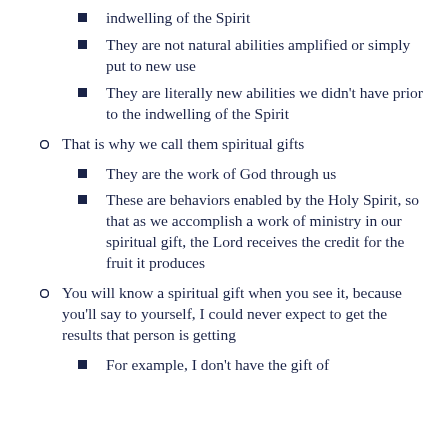indwelling of the Spirit
They are not natural abilities amplified or simply put to new use
They are literally new abilities we didn't have prior to the indwelling of the Spirit
That is why we call them spiritual gifts
They are the work of God through us
These are behaviors enabled by the Holy Spirit, so that as we accomplish a work of ministry in our spiritual gift, the Lord receives the credit for the fruit it produces
You will know a spiritual gift when you see it, because you'll say to yourself, I could never expect to get the results that person is getting
For example, I don't have the gift of